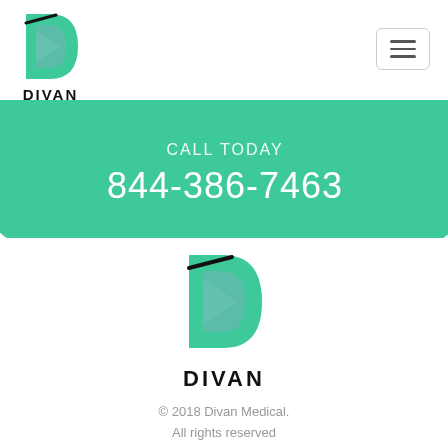[Figure (logo): Divan Medical logo - green D shape with teal accent and black DIVAN text below]
[Figure (other): Hamburger menu icon in rounded rectangle border]
CALL TODAY
844-386-7463
[Figure (logo): Divan Medical logo - larger green D shape with teal accent]
DIVAN
© 2018 Divan Medical. All rights reserved